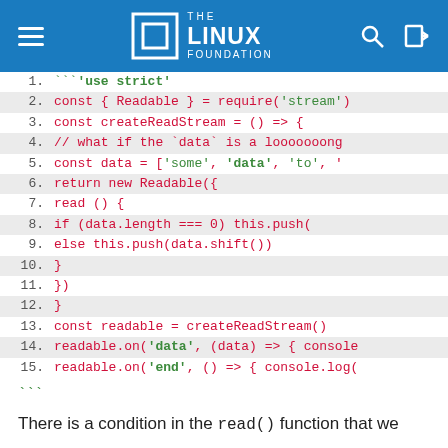THE LINUX FOUNDATION
[Figure (screenshot): Code block showing JavaScript code with line numbers 1-15. Lines use syntax highlighting with red/pink for code and green for string literals. Even-numbered lines have gray background. The code shows a Node.js readable stream implementation using 'use strict', const { Readable } = require('stream'), createReadStream function, and event listeners.]
```
There is a condition in the read() function that we